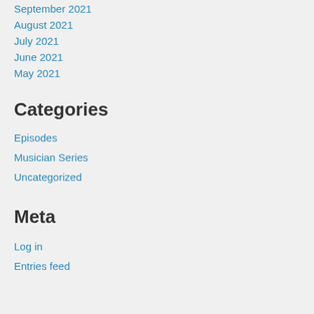September 2021
August 2021
July 2021
June 2021
May 2021
Categories
Episodes
Musician Series
Uncategorized
Meta
Log in
Entries feed